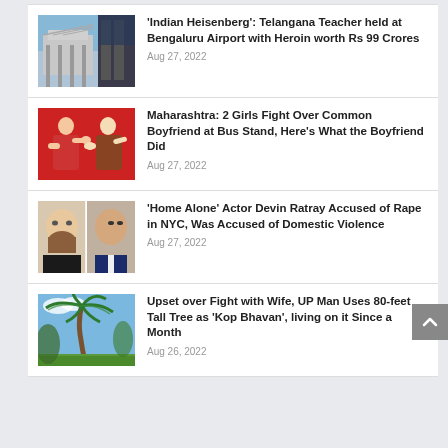[Figure (photo): Airport exterior/architecture photo thumbnail]
'Indian Heisenberg': Telangana Teacher held at Bengaluru Airport with Heroin worth Rs 99 Crores
Aug 27, 2022
[Figure (photo): Two women fighting, red background]
Maharashtra: 2 Girls Fight Over Common Boyfriend at Bus Stand, Here's What the Boyfriend Did
Aug 27, 2022
[Figure (photo): Two men's faces composite photo]
'Home Alone' Actor Devin Ratray Accused of Rape in NYC, Was Accused of Domestic Violence
Aug 27, 2022
[Figure (photo): Palm tree against blue sky]
Upset over Fight with Wife, UP Man Uses 80-feet Tall Tree as 'Kop Bhavan', living on it Since a Month
Aug 26, 2022